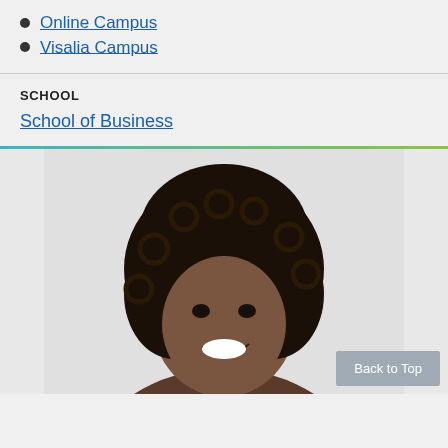Online Campus
Visalia Campus
SCHOOL
School of Business
[Figure (photo): Smiling woman with curly hair touching her hair, light background]
Back to Top